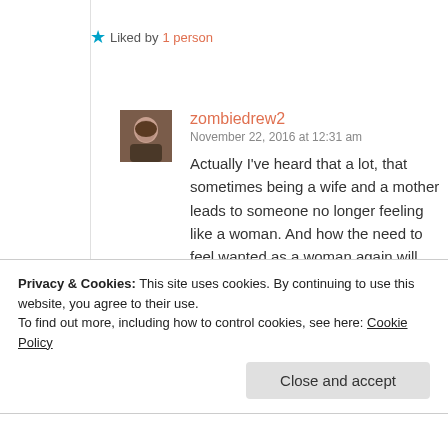★ Liked by 1 person
zombiedrew2
November 22, 2016 at 12:31 am
Actually I've heard that a lot, that sometimes being a wife and a mother leads to someone no longer feeling like a woman. And how the need to feel wanted as a woman again will lead them down that road.
Privacy & Cookies: This site uses cookies. By continuing to use this website, you agree to their use.
To find out more, including how to control cookies, see here: Cookie Policy
Close and accept